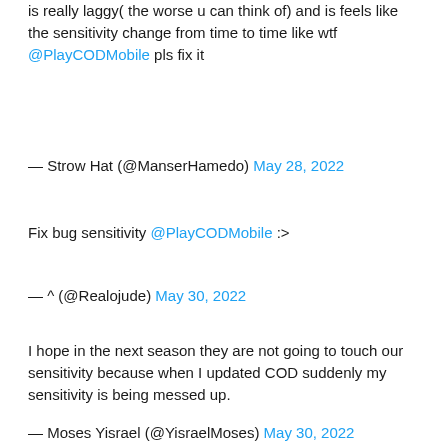is really laggy( the worse u can think of) and is feels like the sensitivity change from time to time like wtf @PlayCODMobile pls fix it
— Strow Hat (@ManserHamedo) May 28, 2022
Fix bug sensitivity @PlayCODMobile :>
— ^ (@Realojude) May 30, 2022
I hope in the next season they are not going to touch our sensitivity because when I updated COD suddenly my sensitivity is being messed up.
— Moses Yisrael (@YisraelMoses) May 30, 2022